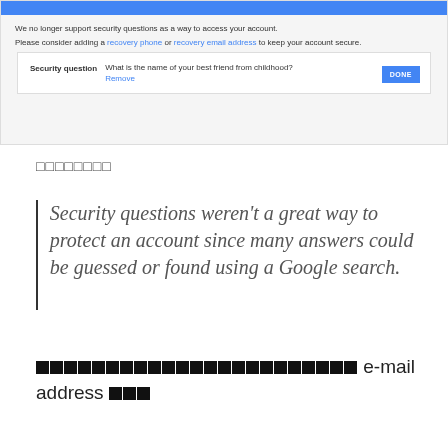[Figure (screenshot): Google account security question settings screenshot showing a message that security questions are no longer supported, with a security question displayed and a DONE button.]
ββββββββ
Security questions weren't a great way to protect an account since many answers could be guessed or found using a Google search.
ββββββββββββββββββββββ e-mail address βββ